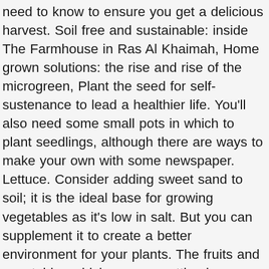need to know to ensure you get a delicious harvest. Soil free and sustainable: inside The Farmhouse in Ras Al Khaimah, Home grown solutions: the rise and rise of the microgreen, Plant the seed for self-sustenance to lead a healthier life. You'll also need some small pots in which to plant seedlings, although there are ways to make your own with some newspaper. Lettuce. Consider adding sweet sand to soil; it is the ideal base for growing vegetables as it's low in salt. But you can supplement it to create a better environment for your plants. The fruits and vegetables which you are getting in monsoon in market, is mix crop of both summer season and non-seasonal crop of winter. Only newly potted plants, germinating seeds, and freshly sown seeds require daily watering. Depending on your region—the mountains in the north or the wide coastal plains—growing seasons and crop availability will vary. Do you have extensive lawns or will you be making do with pots on a balcony? Pumpkin – one or two stalls had green skinned, sizeable pumpkins. Spinach. Beyond the Headlines: How will Joe Biden change US policy in the Middle East?